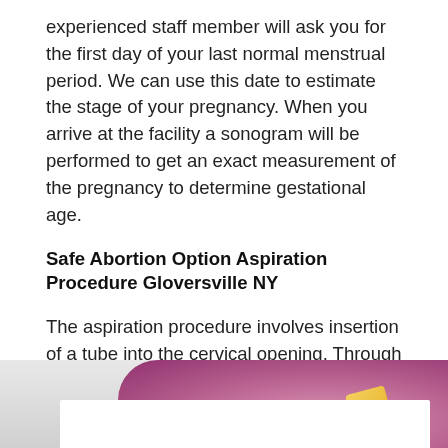experienced staff member will ask you for the first day of your last normal menstrual period. We can use this date to estimate the stage of your pregnancy. When you arrive at the facility a sonogram will be performed to get an exact measurement of the pregnancy to determine gestational age.
Safe Abortion Option Aspiration Procedure Gloversville NY
The aspiration procedure involves insertion of a tube into the cervical opening. Through aspiration, the contents of the uterus are effectively removed. This method is safe and trusted by doctors to be an effective means of abortion with minimal risk or pain to patients.
[Figure (photo): Partial view of a close-up photo showing pink/purple tones, likely a medical or abstract image, with a white rectangular overlay at the bottom left.]